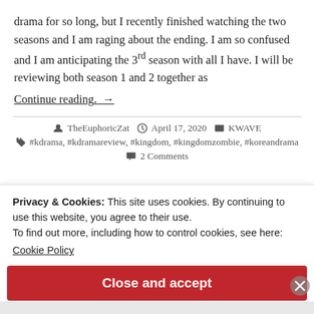drama for so long, but I recently finished watching the two seasons and I am raging about the ending. I am so confused and I am anticipating the 3rd season with all I have. I will be reviewing both season 1 and 2 together as
Continue reading.  →
TheEuphoricZat   April 17, 2020   KWAVE   #kdrama, #kdramareview, #kingdom, #kingdomzombie, #koreandrama   2 Comments
Privacy & Cookies: This site uses cookies. By continuing to use this website, you agree to their use.
To find out more, including how to control cookies, see here:
Cookie Policy
Close and accept